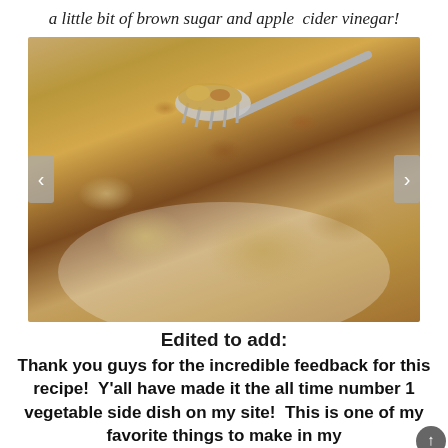a little bit of brown sugar and apple cider vinegar!
[Figure (photo): A white bowl filled with sautéed cabbage and bacon pieces, with a fork lifting a bite of the food. The dish has golden-brown caramelized cabbage and pieces of crispy bacon.]
Edited to add:
Thank you guys for the incredible feedback for this recipe!  Y'all have made it the all time number 1 vegetable side dish on my site!  This is one of my favorite things to make in my